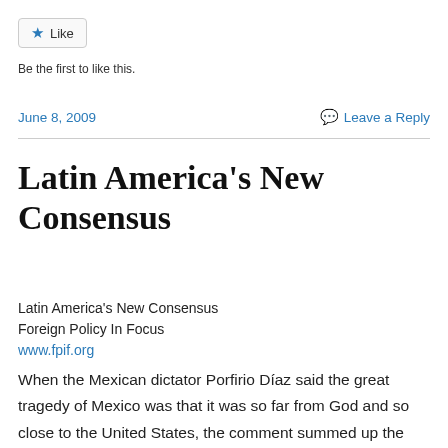[Figure (other): Like button widget with star icon]
Be the first to like this.
June 8, 2009
Leave a Reply
Latin America's New Consensus
Latin America's New Consensus
Foreign Policy In Focus
www.fpif.org
When the Mexican dictator Porfirio Díaz said the great tragedy of Mexico was that it was so far from God and so close to the United States, the comment summed up the long and tortured relationship between the Colossus of the